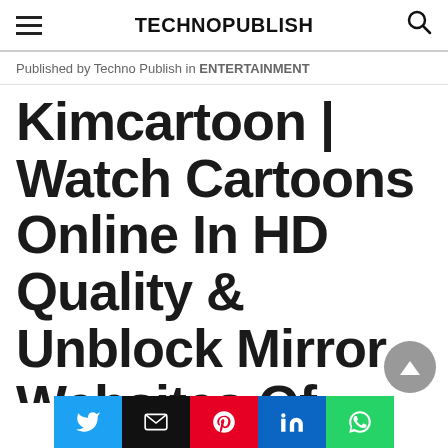TECHNOPUBLISH
Published by Techno Publish in ENTERTAINMENT
Kimcartoon | Watch Cartoons Online In HD Quality & Unblock Mirror Websites Of Kimcartoon...